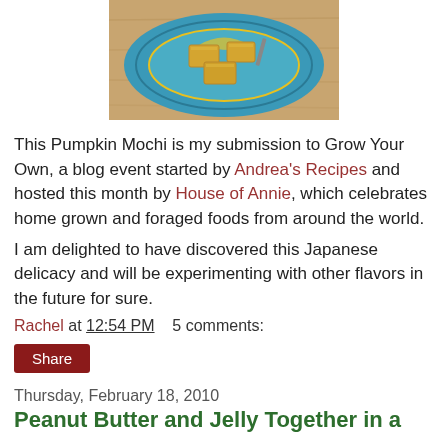[Figure (photo): Photo of pumpkin mochi pieces on a decorative blue and yellow plate on a wooden surface]
This Pumpkin Mochi is my submission to Grow Your Own, a blog event started by Andrea's Recipes and hosted this month by House of Annie, which celebrates home grown and foraged foods from around the world.
I am delighted to have discovered this Japanese delicacy and will be experimenting with other flavors in the future for sure.
Rachel at 12:54 PM    5 comments:
Share
Thursday, February 18, 2010
Peanut Butter and Jelly Together in a